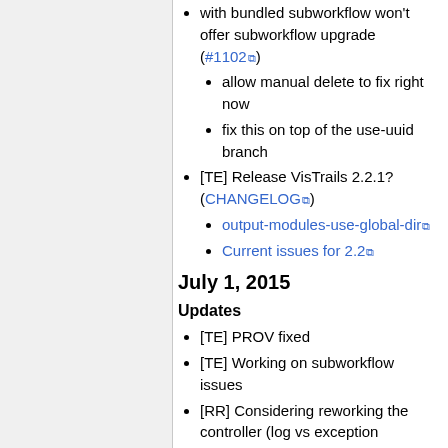with bundled subworkflow won't offer subworkflow upgrade (#1102)
allow manual delete to fix right now
fix this on top of the use-uuid branch
[TE] Release VisTrails 2.2.1? (CHANGELOG)
output-modules-use-global-dir
Current issues for 2.2
July 1, 2015
Updates
[TE] PROV fixed
[TE] Working on subworkflow issues
[RR] Considering reworking the controller (log vs exception problem, retained upgrades causing interferences) and also the